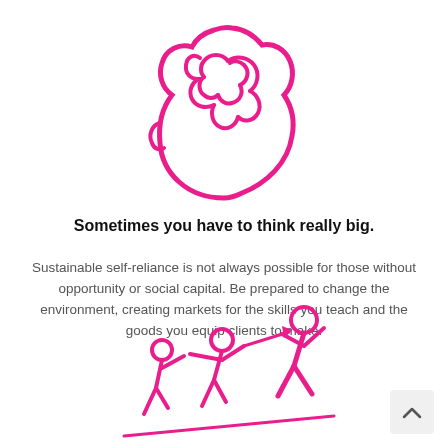[Figure (illustration): Pink outline icon of a human head profile with brain visible inside, facing right]
Sometimes you have to think really big.
Sustainable self-reliance is not always possible for those without opportunity or social capital. Be prepared to change the environment, creating markets for the skills you teach and the goods you equip clients to make.
[Figure (illustration): Pink icon of two stick figures, one pulling another up a slope with a rope]